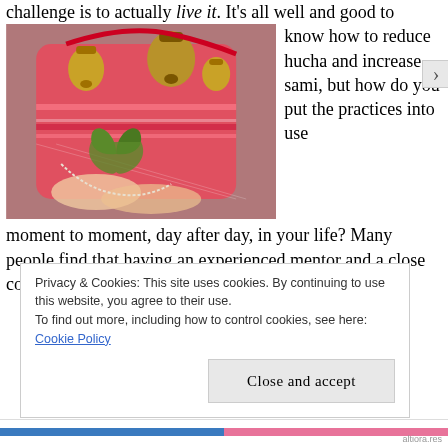challenge is to actually live it. It's all well and good to
[Figure (photo): Photo of a person holding a heart-shaped green leaf/clover next to a colorful pink and red embroidered bag with gold bells and ribbons.]
know how to reduce hucha and increase sami, but how do you put the practices into use moment to moment, day after day, in your life? Many people find that having an experienced mentor and a close community help them to stay on track in their
Privacy & Cookies: This site uses cookies. By continuing to use this website, you agree to their use. To find out more, including how to control cookies, see here: Cookie Policy
Close and accept